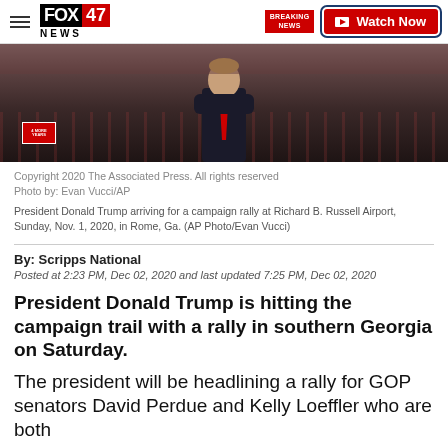FOX 47 NEWS | Watch Now
[Figure (photo): President Donald Trump arriving for a campaign rally at Richard B. Russell Airport. Man in dark suit with red tie at a crowded rally.]
Copyright 2020 The Associated Press. All rights reserved
Photo by: Evan Vucci/AP

President Donald Trump arriving for a campaign rally at Richard B. Russell Airport, Sunday, Nov. 1, 2020, in Rome, Ga. (AP Photo/Evan Vucci)
By: Scripps National
Posted at 2:23 PM, Dec 02, 2020 and last updated 7:25 PM, Dec 02, 2020
President Donald Trump is hitting the campaign trail with a rally in southern Georgia on Saturday.
The president will be headlining a rally for GOP senators David Perdue and Kelly Loeffler who are both